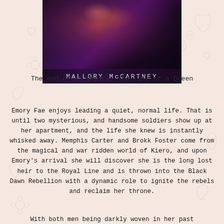[Figure (photo): Dark fantasy book cover with nebula/galaxy background and author name MALLORY McCARTNEY in monospace text]
The end of an Empire, The rise of a Queen
Emory Fae enjoys leading a quiet, normal life. That is until two mysterious, and handsome soldiers show up at her apartment, and the life she knew is instantly whisked away. Memphis Carter and Brokk Foster come from the magical and war ridden world of Kiero, and upon Emory's arrival she will discover she is the long lost heir to the Royal Line and is thrown into the Black Dawn Rebellion with a dynamic role to ignite the rebels and reclaim her throne.
With both men being darkly woven in her past